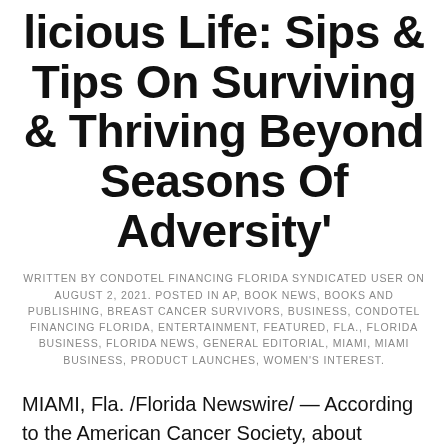licious Life: Sips & Tips On Surviving & Thriving Beyond Seasons Of Adversity'
WRITTEN BY CONDOTEL FINANCING FLORIDA SYNDICATED USER ON AUGUST 2, 2021. POSTED IN AP, BOOK NEWS, BOOKS AND PUBLISHING, BREAST CANCER SURVIVORS, BUSINESS, CONDOTEL FINANCING FLORIDA, ENTERTAINMENT, FEATURED, FLA., FLORIDA BUSINESS, FLORIDA NEWS, GENERAL EDITORIAL, MIAMI, MIAMI BUSINESS, PRODUCT LAUNCHES, WOMEN'S INTEREST.
MIAMI, Fla. /Florida Newswire/ — According to the American Cancer Society, about 281,550 new cases of invasive breast cancer will be diagnosed in women. Of that number of new cases, it is estimated that about 43,600...